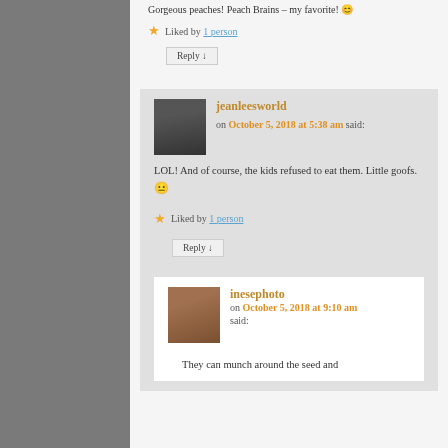Gorgeous peaches! Peach Brains – my favorite! 😊
★ Liked by 1 person
Reply ↓
jeanleesworld on October 5, 2018 at 5:38 am said:
LOL! And of course, the kids refused to eat them. Little goofs. 😐
★ Liked by 1 person
Reply ↓
inesephoto on October 5, 2018 at 9:10 am said:
They can munch around the seed and